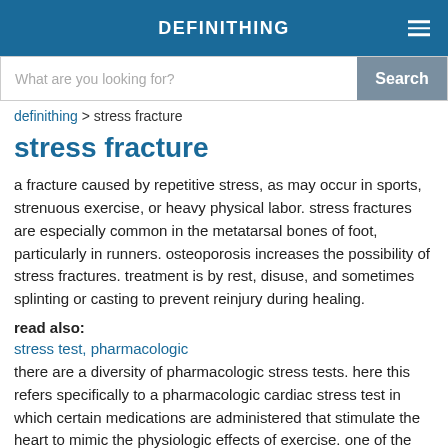DEFINITHING
What are you looking for?
definithing > stress fracture
stress fracture
a fracture caused by repetitive stress, as may occur in sports, strenuous exercise, or heavy physical labor. stress fractures are especially common in the metatarsal bones of foot, particularly in runners. osteoporosis increases the possibility of stress fractures. treatment is by rest, disuse, and sometimes splinting or casting to prevent reinjury during healing.
read also:
stress test, pharmacologic
there are a diversity of pharmacologic stress tests. here this refers specifically to a pharmacologic cardiac stress test in which certain medications are administered that stimulate the heart to mimic the physiologic effects of exercise. one of the